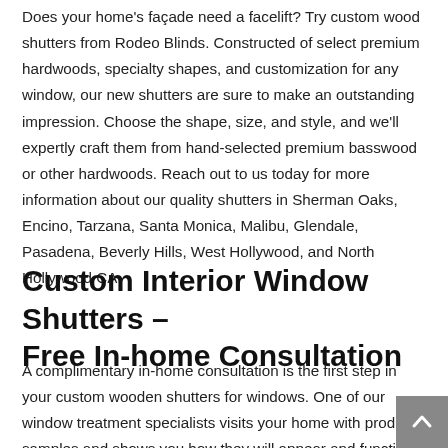Does your home's façade need a facelift? Try custom wood shutters from Rodeo Blinds. Constructed of select premium hardwoods, specialty shapes, and customization for any window, our new shutters are sure to make an outstanding impression. Choose the shape, size, and style, and we'll expertly craft them from hand-selected premium basswood or other hardwoods. Reach out to us today for more information about our quality shutters in Sherman Oaks, Encino, Tarzana, Santa Monica, Malibu, Glendale, Pasadena, Beverly Hills, West Hollywood, and North Hollywood CA.
Custom Interior Window Shutters – Free In-home Consultation
A complimentary in-home consultation is the first step in your custom wooden shutters for windows. One of our window treatment specialists visits your home with product samples and shows you how they will appear and function on your windows.